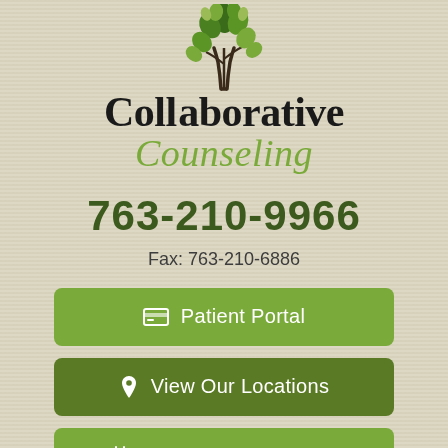[Figure (logo): Collaborative Counseling tree logo with green leaves, black text 'Collaborative' and green italic 'Counseling']
763-210-9966
Fax: 763-210-6886
Patient Portal
View Our Locations
Request Appointment